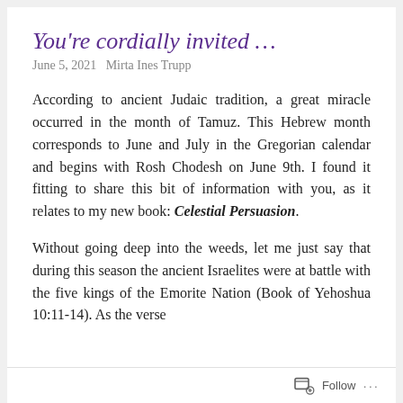You’re cordially invited …
June 5, 2021   Mirta Ines Trupp
According to ancient Judaic tradition, a great miracle occurred in the month of Tamuz. This Hebrew month corresponds to June and July in the Gregorian calendar and begins with Rosh Chodesh on June 9th. I found it fitting to share this bit of information with you, as it relates to my new book: Celestial Persuasion.
Without going deep into the weeds, let me just say that during this season the ancient Israelites were at battle with the five kings of the Emorite Nation (Book of Yehoshua 10:11-14). As the verse
Follow